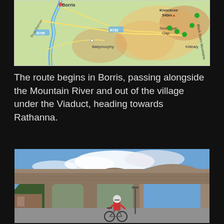[Figure (map): Topographic map showing the area around Borris, with River Barrow, Ballymurphy, Knockroe 540m, Scullogue Gap, Black Stairs Mountains, and Kiltealy labeled. Road numbers R705 and R702 visible. Green dots indicating points of interest.]
The route begins in Borris, passing alongside the Mountain River and out of the village under the Viaduct, heading towards Rathanna.
[Figure (photo): Photo of a cyclist wearing a red top and helmet riding a mountain bike under a large stone railway viaduct with multiple arches. Blue sky visible through the arches. Trees and buildings in the background.]